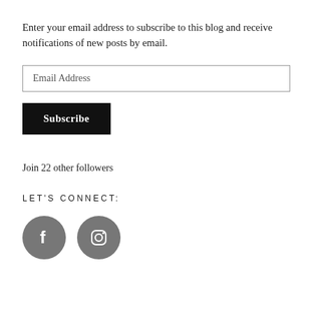Enter your email address to subscribe to this blog and receive notifications of new posts by email.
[Figure (screenshot): Email Address input field with border]
[Figure (screenshot): Subscribe button, black background with white bold text]
Join 22 other followers
LET'S CONNECT:
[Figure (illustration): Two social media icon circles: Facebook (f) and Instagram (camera icon), both in gray]